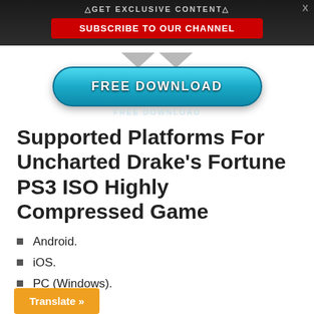△GET EXCLUSIVE CONTENT△ SUBSCRIBE TO OUR CHANNEL
[Figure (illustration): Blue pill-shaped FREE DOWNLOAD button with grey downward arrows above it and a reflection below]
Supported Platforms For Uncharted Drake's Fortune PS3 ISO Highly Compressed Game
Android.
iOS.
PC (Windows).